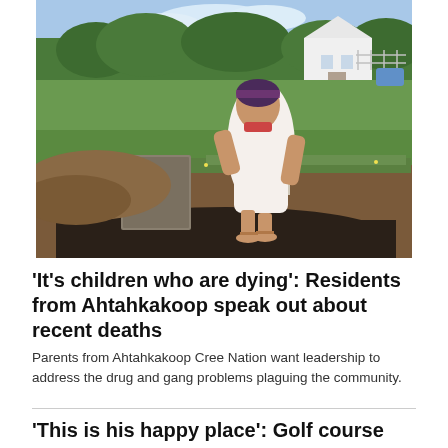[Figure (photo): A woman in a white sleeveless dress and purple headband stands near a dirt area with a concrete block, green grass, a white house, and a fence in the background on a sunny day.]
'It's children who are dying': Residents from Ahtahkakoop speak out about recent deaths
Parents from Ahtahkakoop Cree Nation want leadership to address the drug and gang problems plaguing the community.
'This is his happy place': Golf course